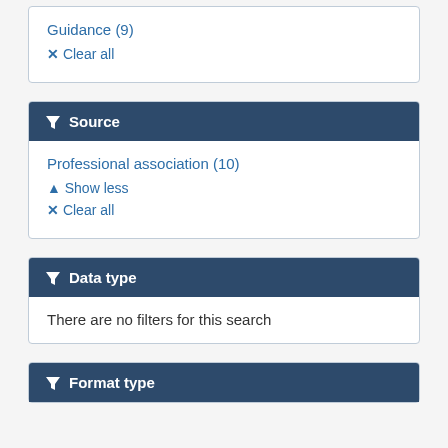Guidance (9)
✕ Clear all
▼ Source
Professional association (10)
▲ Show less
✕ Clear all
▼ Data type
There are no filters for this search
▼ Format type